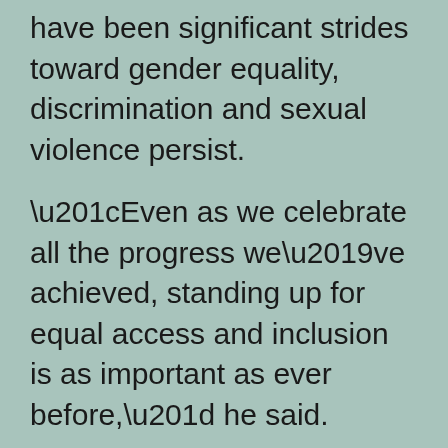have been significant strides toward gender equality, discrimination and sexual violence persist.
“Even as we celebrate all the progress we’ve achieved, standing up for equal access and inclusion is as important as ever before,” he said.
The proposal is almost certain to be challenged by conservatives, and it is expected to lead to new legal battles over the rights of transgender students in schools, especially in sports. It now faces a public